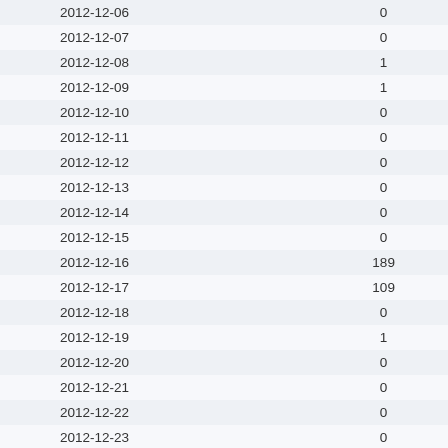| 2012-12-06 | 0 |
| 2012-12-07 | 0 |
| 2012-12-08 | 1 |
| 2012-12-09 | 1 |
| 2012-12-10 | 0 |
| 2012-12-11 | 0 |
| 2012-12-12 | 0 |
| 2012-12-13 | 0 |
| 2012-12-14 | 0 |
| 2012-12-15 | 0 |
| 2012-12-16 | 189 |
| 2012-12-17 | 109 |
| 2012-12-18 | 0 |
| 2012-12-19 | 1 |
| 2012-12-20 | 0 |
| 2012-12-21 | 0 |
| 2012-12-22 | 0 |
| 2012-12-23 | 0 |
| 2012-12-24 | 1 |